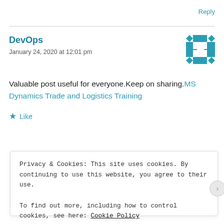Reply
DevOps
January 24, 2020 at 12:01 pm
Valuable post useful for everyone.Keep on sharing.MS Dynamics Trade and Logistics Training
Like
Privacy & Cookies: This site uses cookies. By continuing to use this website, you agree to their use.
To find out more, including how to control cookies, see here: Cookie Policy
Close and accept